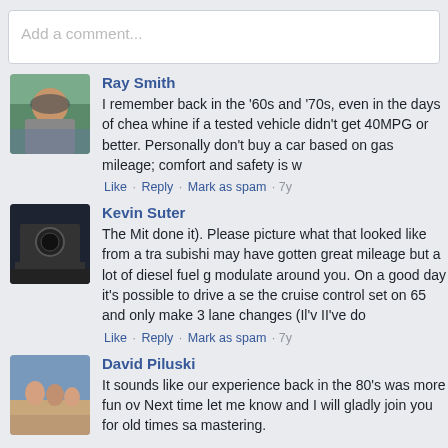Add a comment...
Ray Smith
I remember back in the '60s and '70s, even in the days of chea whine if a tested vehicle didn't get 40MPG or better. Personally don't buy a car based on gas mileage; comfort and safety is w
Like · Reply · Mark as spam · 7y
Kevin Suter
The Mit done it). Please picture what that looked like from a tra subishi may have gotten great mileage but a lot of diesel fuel g modulate around you. On a good day it's possible to drive a se the cruise control set on 65 and only make 3 lane changes (Il'v II've do
Like · Reply · Mark as spam · 7y
David Piluski
It sounds like our experience back in the 80's was more fun ov Next time let me know and I will gladly join you for old times sa mastering.